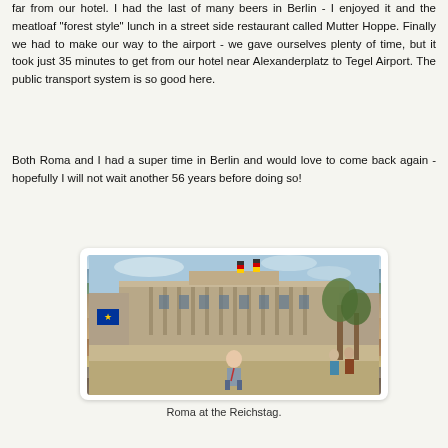far from our hotel. I had the last of many beers in Berlin - I enjoyed it and the meatloaf "forest style" lunch in a street side restaurant called Mutter Hoppe. Finally we had to make our way to the airport - we gave ourselves plenty of time, but it took just 35 minutes to get from our hotel near Alexanderplatz to Tegel Airport. The public transport system is so good here.
Both Roma and I had a super time in Berlin and would love to come back again - hopefully I will not wait another 56 years before doing so!
[Figure (photo): A woman standing in front of the Reichstag building in Berlin, with German flags visible on the rooftop and trees on the right side.]
Roma at the Reichstag.